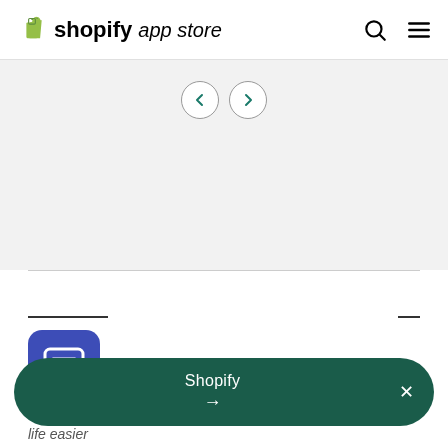shopify app store
[Figure (screenshot): Navigation arrows (left and right chevrons in circular buttons) on a grey background]
[Figure (screenshot): Grey content area with horizontal separator lines and two short underlines]
[Figure (infographic): WhatsApp Chat + Cart Recovery app listing card with blue chat icon]
[Figure (infographic): Dark green Shopify notification banner with arrow and close button]
life easier